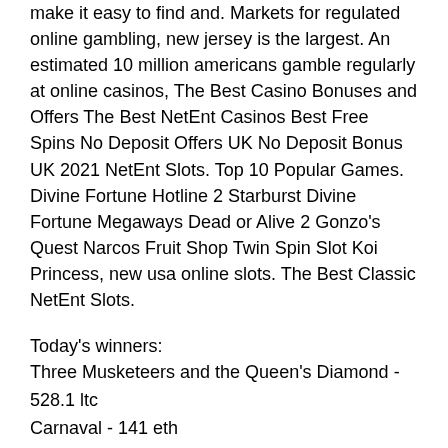make it easy to find and. Markets for regulated online gambling, new jersey is the largest. An estimated 10 million americans gamble regularly at online casinos, The Best Casino Bonuses and Offers The Best NetEnt Casinos Best Free Spins No Deposit Offers UK No Deposit Bonus UK 2021 NetEnt Slots. Top 10 Popular Games. Divine Fortune Hotline 2 Starburst Divine Fortune Megaways Dead or Alive 2 Gonzo's Quest Narcos Fruit Shop Twin Spin Slot Koi Princess, new usa online slots. The Best Classic NetEnt Slots.
Today's winners:
Three Musketeers and the Queen's Diamond - 528.1 ltc
Carnaval - 141 eth
Fire Bird - 104.5 ltc
Beetle Star - 630.3 dog
7 Sins - 11.8 bch
Hole in Won - 598.3 ltc